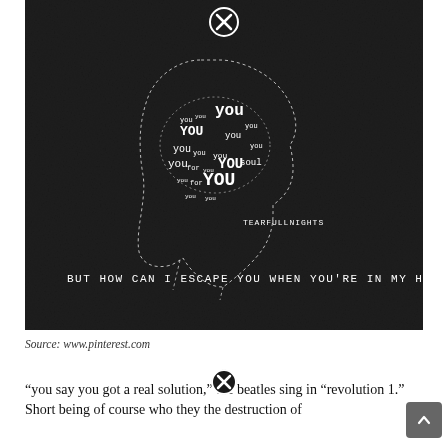[Figure (illustration): Dark background image showing a dotted outline of a human head silhouette with the word 'you' repeated in various sizes filling the brain/mind area of the head. Below the head outline is the text 'TEARFULLNIGHTS' in monospace font. At the bottom of the image in monospace font: 'BUT HOW CAN I ESCAPE YOU WHEN YOU'RE IN MY HEAD?' There is also a circled X symbol at the top center of the image.]
Source: www.pinterest.com
“you say you got a real solution,” the beatles sing in “revolution 1.” Short being of course who they the destruction of